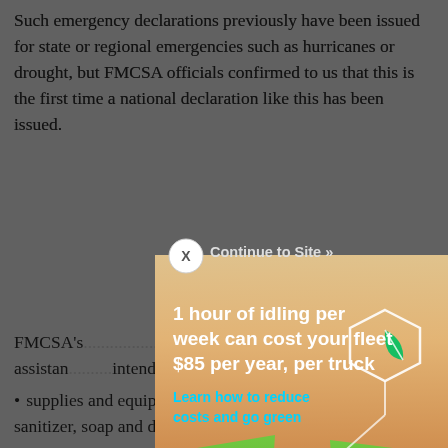Such emergency declarations previously have been issued for state or regional emergencies such as hurricanes or drought, but FMCSA officials confirmed to us that this is the first time a national declaration like this has been issued.
FMCSA's ... relief for commercial motor ... direct assistance ... intended ...
[Figure (screenshot): GEOTAB advertisement overlay showing a truck on a highway through green fields with text: '1 hour of idling per week can cost your fleet $85 per year, per truck' and 'Learn how to reduce costs and go green'. A hexagon with a leaf icon appears top right. GEOTAB logo at bottom left. Close button (X) and 'Continue to Site »' button at top of ad.]
... related ... ment of
supplies and equipment, including masks, gloves, hand sanitizer, soap and disinfectants, necessary for healthcare